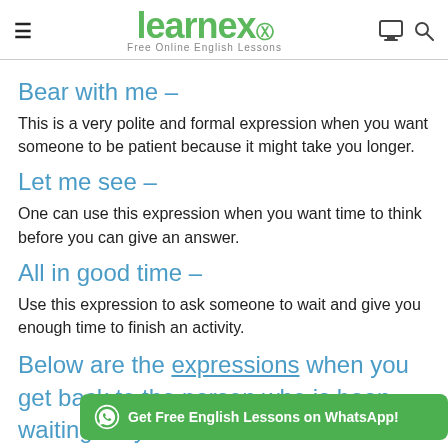learnex – Free Online English Lessons
Bear with me –
This is a very polite and formal expression when you want someone to be patient because it might take you longer.
Let me see –
One can use this expression when you want time to think before you can give an answer.
All in good time –
Use this expression to ask someone to wait and give you enough time to finish an activity.
Below are the expressions when you get back to the person who is been waiting for you:
I apologize for the delay –
Get Free English Lessons on WhatsApp!